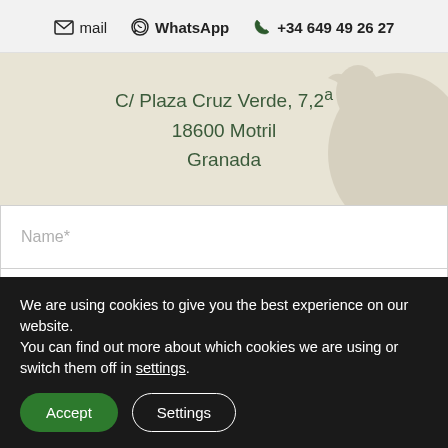mail   WhatsApp   +34 649 49 26 27
C/ Plaza Cruz Verde, 7,2ª
18600 Motril
Granada
Name*
Email*
We are using cookies to give you the best experience on our website.
You can find out more about which cookies we are using or switch them off in settings.
Accept
Settings